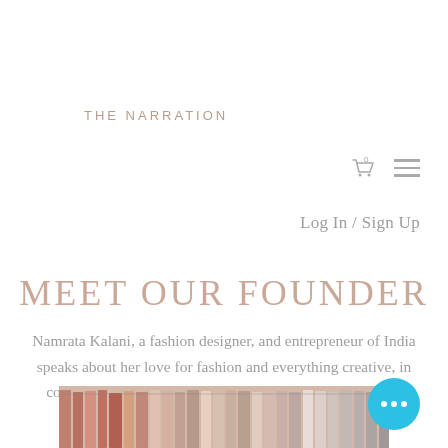THE NARRATION
Log In / Sign Up
MEET OUR FOUNDER
Namrata Kalani, a fashion designer, and entrepreneur of India speaks about her love for fashion and everything creative, in conversation with  Aristha Meharwal and Padmini Singh.
[Figure (photo): A row of hanging clothes/garments on a rack, showing various colors including pink, red, and neutral tones.]